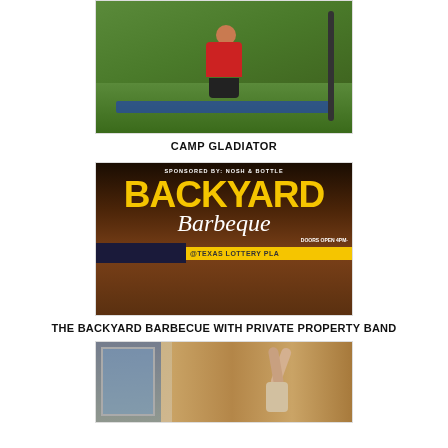[Figure (photo): A man in a red shirt exercising outdoors with gym equipment on a green grass background]
CAMP GLADIATOR
[Figure (photo): Event poster for The Backyard Barbecue sponsored by Nosh & Bottle, with large yellow BACKYARD text and Barbeque in script, at Texas Lottery Plaza, doors open 4PM]
THE BACKYARD BARBECUE WITH PRIVATE PROPERTY BAND
[Figure (photo): A person doing an acrobatic or yoga pose outdoors near a wooden building with large windows]